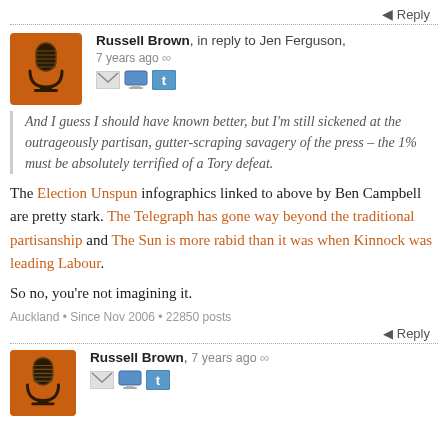← Reply
Russell Brown, in reply to Jen Ferguson, 7 years ago ∞
And I guess I should have known better, but I'm still sickened at the outrageously partisan, gutter-scraping savagery of the press – the 1% must be absolutely terrified of a Tory defeat.
The Election Unspun infographics linked to above by Ben Campbell are pretty stark. The Telegraph has gone way beyond the traditional partisanship and The Sun is more rabid than it was when Kinnock was leading Labour.
So no, you're not imagining it.
Auckland • Since Nov 2006 • 22850 posts
← Reply
Russell Brown, 7 years ago ∞